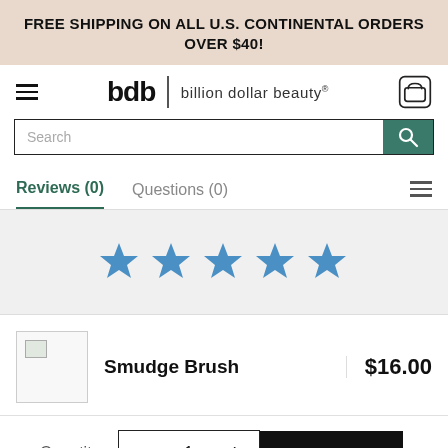FREE SHIPPING ON ALL U.S. CONTINENTAL ORDERS OVER $40!
[Figure (logo): Billion Dollar Beauty logo with hamburger menu and cart icon in navigation bar]
[Figure (screenshot): Search bar with teal search button]
Reviews (0)   Questions (0)
[Figure (infographic): Five blue star rating icons]
| Product | Name | Price |
| --- | --- | --- |
| [image] | Smudge Brush | $16.00 |
Quantity  —  1  +  ADD TO CART